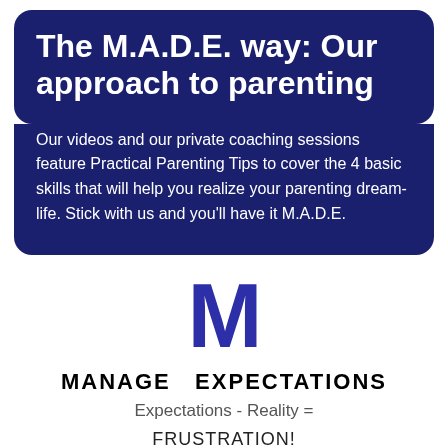The M.A.D.E. way: Our approach to parenting
Our videos and our private coaching sessions feature Practical Parenting Tips to cover the 4 basic skills that will help you realize your parenting dream-life. Stick with us and you'll have it M.A.D.E.
[Figure (illustration): Large bold letter M in dark blue/navy color, serving as a logo or icon for MANAGE EXPECTATIONS]
MANAGE EXPECTATIONS
Expectations - Reality =
FRUSTRATION!
We explain developmental milestones, brain development and more to help you establish realistic and healthy